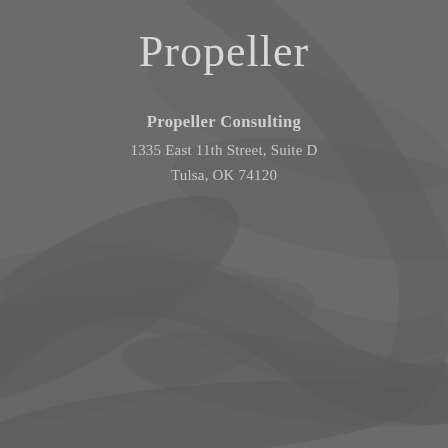[Figure (logo): Propeller Consulting logo background with decorative propeller blade shapes in dark grey tones]
Propeller
Propeller Consulting
1335 East 11th Street, Suite D
Tulsa, OK 74120